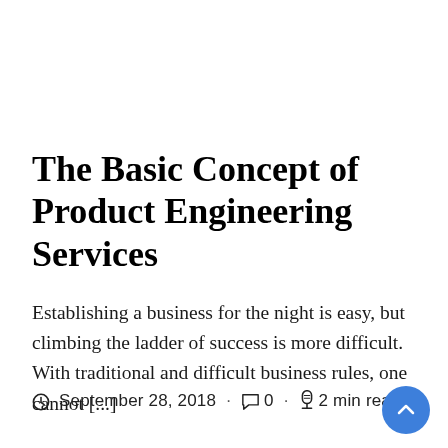The Basic Concept of Product Engineering Services
Establishing a business for the night is easy, but climbing the ladder of success is more difficult. With traditional and difficult business rules, one cannot [...]
September 28, 2018 · 0 · 2 min read